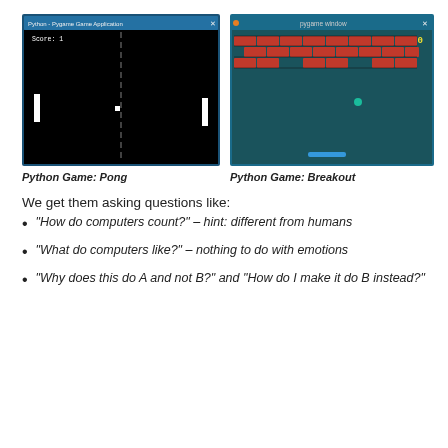[Figure (screenshot): Screenshot of a Python Pong game — black background, two white paddles on left and right, a small white ball in the center, a vertical center line, and 'Score: 1' text at top left. Window title bar in blue.]
Python Game: Pong
[Figure (screenshot): Screenshot of a Python Breakout game — dark teal background, rows of red bricks at top with some missing, a small teal ball in the middle area, a teal paddle at the bottom, yellow '60' score at top right. Window title 'pygame window' in blue.]
Python Game: Breakout
We get them asking questions like:
“How do computers count?” – hint: different from humans
“What do computers like?” – nothing to do with emotions
“Why does this do A and not B?” and “How do I make it do B instead?”